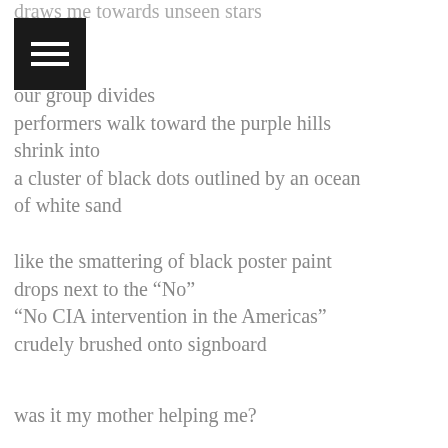draws me towards unseen stars
[Figure (other): Hamburger menu icon — black square with three white horizontal lines]
our group divides
performers walk toward the purple hills
shrink into
a cluster of black dots outlined by an ocean
of white sand
like the smattering of black poster paint
drops next to the “No”
“No CIA intervention in the Americas”
crudely brushed onto signboard
was it my mother helping me?